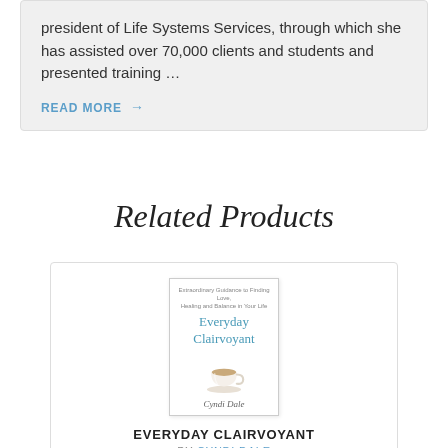president of Life Systems Services, through which she has assisted over 70,000 clients and students and presented training …
READ MORE →
Related Products
[Figure (photo): Book cover for 'Everyday Clairvoyant' by Cyndi Dale, showing a white coffee cup, with a light blue watermark of the book title in the background.]
EVERYDAY CLAIRVOYANT
BY CYNDI DALE